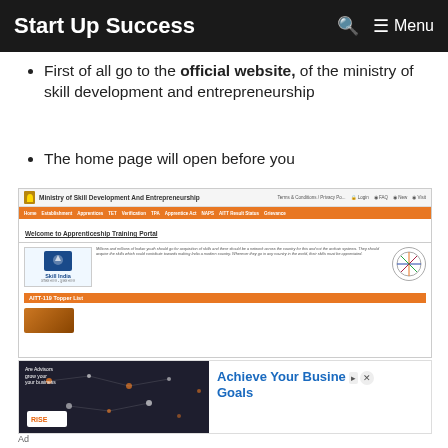Start Up Success  Menu
First of all go to the official website, of the ministry of skill development and entrepreneurship
The home page will open before you
[Figure (screenshot): Screenshot of the Ministry of Skill Development And Entrepreneurship official website showing the Apprenticeship Training Portal with Skill India logo, navigation bar, and AITT-119 Topper List section]
[Figure (photo): Advertisement banner with network/technology image showing 'Achieve Your Business Goals' text with RISE branding]
Ad